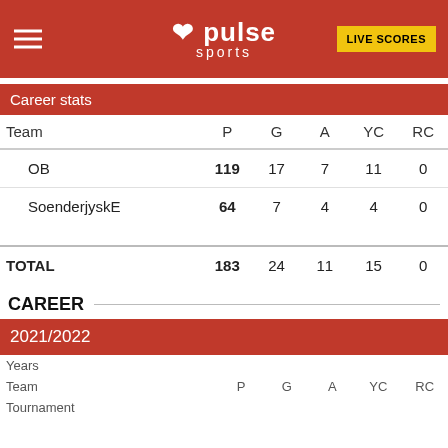[Figure (logo): Pulse Sports logo with hamburger menu and Live Scores button on red header]
Career stats
| Team | P | G | A | YC | RC |
| --- | --- | --- | --- | --- | --- |
| OB | 119 | 17 | 7 | 11 | 0 |
| SoenderjyskE | 64 | 7 | 4 | 4 | 0 |
| TOTAL | 183 | 24 | 11 | 15 | 0 |
CAREER
2021/2022
| Years |  |  |  |  |  |
| --- | --- | --- | --- | --- | --- |
| Team |  |  | P | G | A | YC | RC |
| Tournament |  |  |  |  |  |  |  |